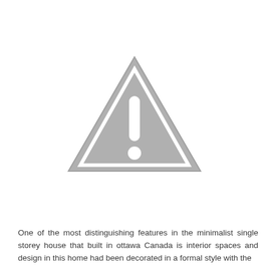[Figure (other): A grey warning/caution triangle icon with an exclamation mark inside, indicating a missing or unavailable image placeholder.]
One of the most distinguishing features in the minimalist single storey house that built in ottawa Canada is interior spaces and design in this home had been decorated in a formal style with the